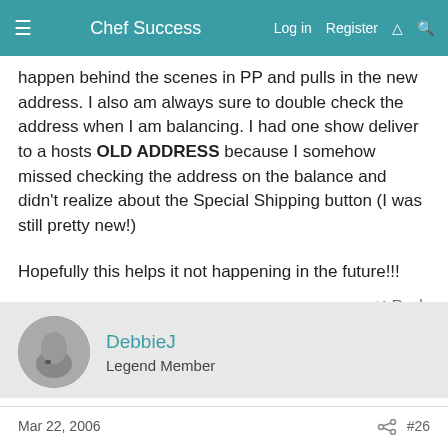Chef Success | Log in | Register
happen behind the scenes in PP and pulls in the new address. I also am always sure to double check the address when I am balancing. I had one show deliver to a hosts OLD ADDRESS because I somehow missed checking the address on the balance and didn't realize about the Special Shipping button (I was still pretty new!)
Hopefully this helps it not happening in the future!!!
Reply
DebbieJ
Legend Member
Mar 22, 2006  #26